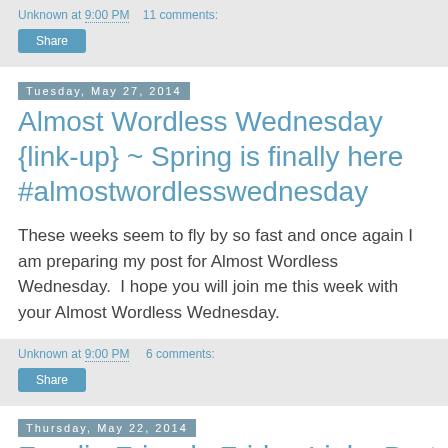Unknown at 9:00 PM   11 comments:
Share
Tuesday, May 27, 2014
Almost Wordless Wednesday {link-up} ~ Spring is finally here #almostwordlesswednesday
These weeks seem to fly by so fast and once again I am preparing my post for Almost Wordless Wednesday.  I hope you will join me this week with your Almost Wordless Wednesday.
Unknown at 9:00 PM   6 comments:
Share
Thursday, May 22, 2014
Foodie Friends Friday Linky Party with